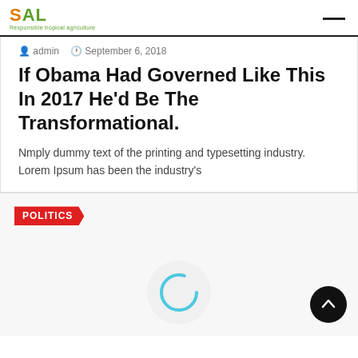DAL - Responsible tropical agriculture
admin   September 6, 2018
If Obama Had Governed Like This In 2017 He'd Be The Transformational.
Nmply dummy text of the printing and typesetting industry. Lorem Ipsum has been the industry's
POLITICS
[Figure (other): Loading spinner circle (cyan outline circle on white/light grey background)]
[Figure (other): Back-to-top floating action button: dark circle with white upward arrow]